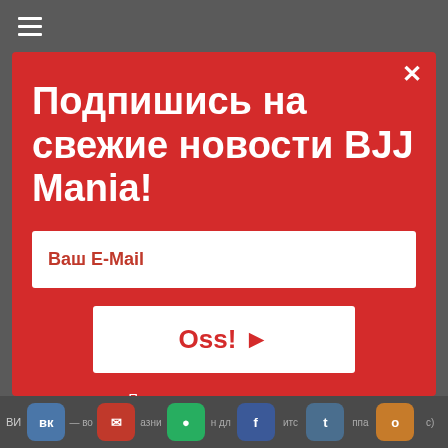[Figure (screenshot): Top gray navigation bar with hamburger menu icon (three horizontal lines) on the left]
Подпишись на свежие новости BJJ Mania!
Ваш E-Mail
Oss! ▶
Пользовательское соглашение.
[Figure (screenshot): Bottom toolbar with social share buttons: ВК, email/mail, WhatsApp, Facebook, Twitter, Одноклассники, with partial Russian text labels]